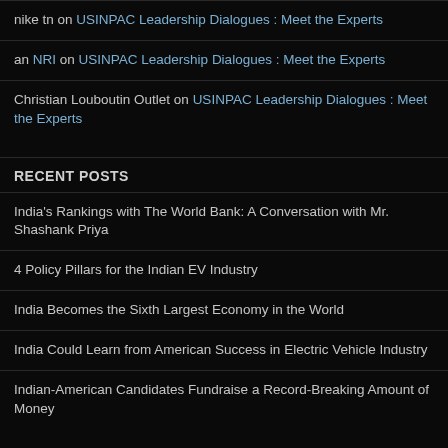nike tn on USINPAC Leadership Dialogues : Meet the Experts
an NRI on USINPAC Leadership Dialogues : Meet the Experts
Christian Louboutin Outlet on USINPAC Leadership Dialogues : Meet the Experts
RECENT POSTS
India's Rankings with The World Bank: A Conversation with Mr. Shashank Priya
4 Policy Pillars for the Indian EV Industry
India Becomes the Sixth Largest Economy in the World
India Could Learn from American Success in Electric Vehicle Industry
Indian-American Candidates Fundraise a Record-Breaking Amount of Money